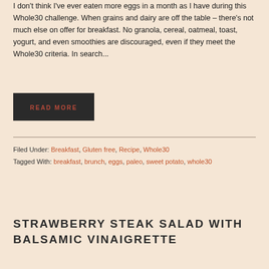I don't think I've ever eaten more eggs in a month as I have during this Whole30 challenge. When grains and dairy are off the table – there's not much else on offer for breakfast. No granola, cereal, oatmeal, toast, yogurt, and even smoothies are discouraged, even if they meet the Whole30 criteria. In search...
READ MORE
Filed Under: Breakfast, Gluten free, Recipe, Whole30
Tagged With: breakfast, brunch, eggs, paleo, sweet potato, whole30
STRAWBERRY STEAK SALAD WITH BALSAMIC VINAIGRETTE